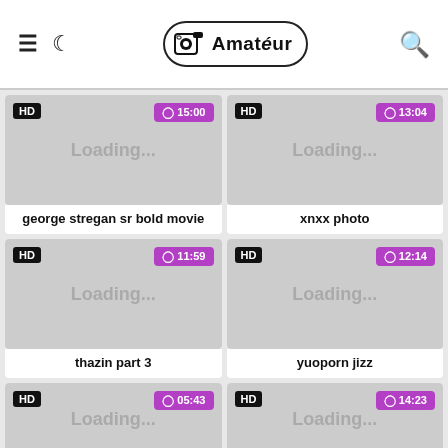Amateur (logo) with hamburger, moon, and search icons
[Figure (screenshot): Video thumbnail placeholder showing HD badge and 15:00 duration]
george stregan sr bold movie
[Figure (screenshot): Video thumbnail placeholder showing HD badge and 13:04 duration]
xnxx photo
[Figure (screenshot): Video thumbnail placeholder showing HD badge and 11:59 duration]
thazin part 3
[Figure (screenshot): Video thumbnail placeholder showing HD badge and 12:14 duration]
yuoporn jizz
[Figure (screenshot): Video thumbnail placeholder showing HD badge and 05:43 duration (partial)]
[Figure (screenshot): Video thumbnail placeholder showing HD badge and 14:23 duration (partial)]